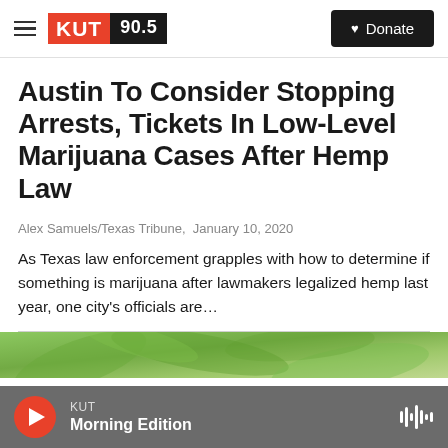KUT 90.5 — Donate
Austin To Consider Stopping Arrests, Tickets In Low-Level Marijuana Cases After Hemp Law
Alex Samuels/Texas Tribune,  January 10, 2020
As Texas law enforcement grapples with how to determine if something is marijuana after lawmakers legalized hemp last year, one city's officials are…
[Figure (photo): Partial view of green hemp/marijuana plant leaves, cropped at bottom of page]
KUT Morning Edition — play button with audio waveform icon